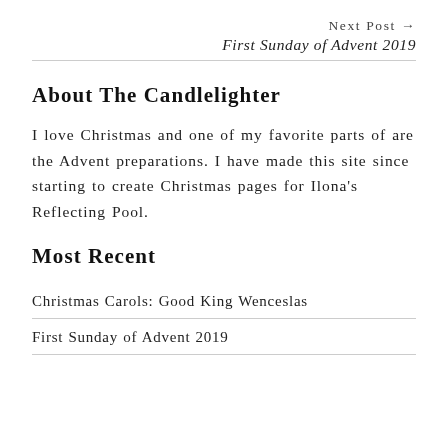Next Post → First Sunday of Advent 2019
About The Candlelighter
I love Christmas and one of my favorite parts of are the Advent preparations. I have made this site since starting to create Christmas pages for Ilona's Reflecting Pool.
Most Recent
Christmas Carols: Good King Wenceslas
First Sunday of Advent 2019